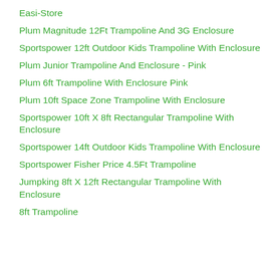Easi-Store
Plum Magnitude 12Ft Trampoline And 3G Enclosure
Sportspower 12ft Outdoor Kids Trampoline With Enclosure
Plum Junior Trampoline And Enclosure - Pink
Plum 6ft Trampoline With Enclosure Pink
Plum 10ft Space Zone Trampoline With Enclosure
Sportspower 10ft X 8ft Rectangular Trampoline With Enclosure
Sportspower 14ft Outdoor Kids Trampoline With Enclosure
Sportspower Fisher Price 4.5Ft Trampoline
Jumpking 8ft X 12ft Rectangular Trampoline With Enclosure
8ft Trampoline